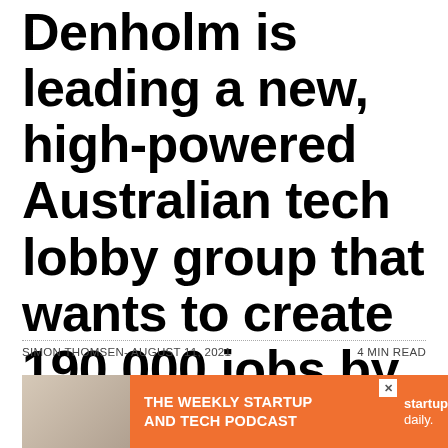Denholm is leading a new, high-powered Australian tech lobby group that wants to create 190,000 jobs by 2025
SIMON THOMSEN- AUGUST 11, 2021
4 MIN READ
[Figure (infographic): Advertisement banner with orange background showing 'THE WEEKLY STARTUP AND TECH PODCAST' text in white with 'startup daily.' logo on right, overlaid on a photo of a brick wall]